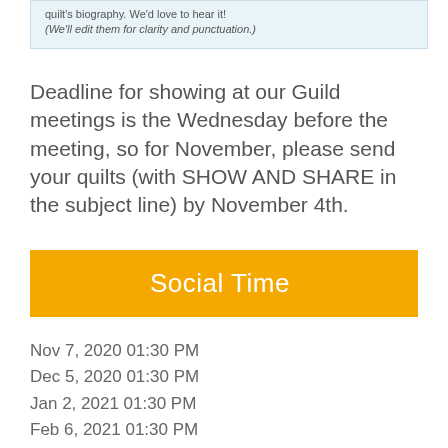quilt's biography. We'd love to hear it!
(We'll edit them for clarity and punctuation.)
Deadline for showing at our Guild meetings is the Wednesday before the meeting, so for November, please send your quilts (with SHOW AND SHARE in the subject line) by November 4th.
Social Time
Nov 7, 2020 01:30 PM
Dec 5, 2020 01:30 PM
Jan 2, 2021 01:30 PM
Feb 6, 2021 01:30 PM
Mar 6, 2021 01:30 PM
Apr 3, 2021 01:30 PM
May 1, 2021 01:30 PM